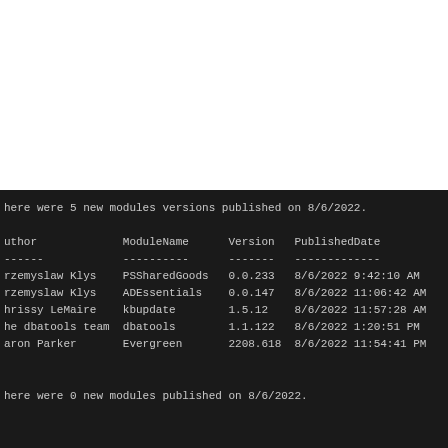There were 5 new modules versions published on 8/6/2022.
| Author | ModuleName | Version | PublishedDate |
| --- | --- | --- | --- |
| Przemyslaw Klys | PSSharedGoods | 0.0.233 | 8/6/2022 9:42:10 AM |
| Przemyslaw Klys | ADEssentials | 0.0.147 | 8/6/2022 11:06:42 AM |
| Chrissy LeMaire | kbupdate | 1.5.12 | 8/6/2022 11:57:28 AM |
| The dbatools team | dbatools | 1.1.122 | 8/6/2022 1:20:51 PM |
| Aaron Parker | Evergreen | 2208.618 | 8/6/2022 11:54:41 PM |
There were 0 new modules published on 8/6/2022.